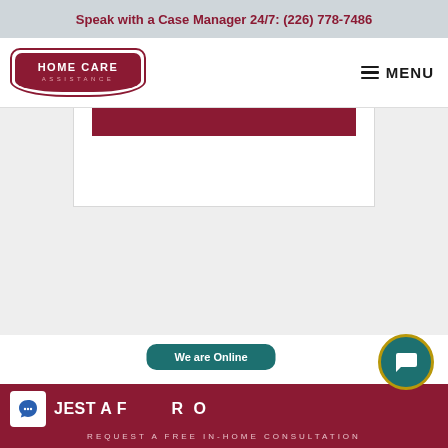Speak with a Case Manager 24/7: (226) 778-7486
[Figure (logo): Home Care Assistance logo with dark red shield/badge shape containing text HOME CARE ASSISTANCE]
≡ MENU
[Figure (screenshot): White card area with dark red/maroon horizontal bar inside]
We are Online
REQUEST A FREE IN-HOME CONSULTATION